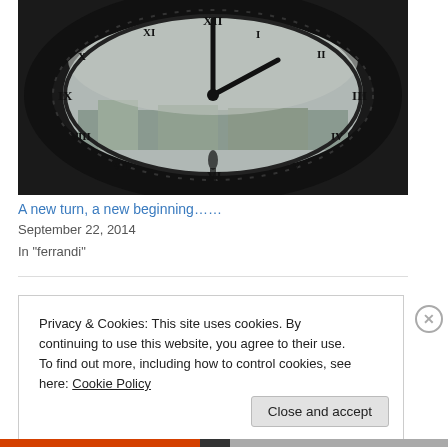[Figure (photo): Close-up photograph of a large ornate clock face with Roman numerals and dark iron hands, viewed from behind or inside — city view visible through the translucent clock face background.]
A new turn, a new beginning……
September 22, 2014
In "ferrandi"
Privacy & Cookies: This site uses cookies. By continuing to use this website, you agree to their use.
To find out more, including how to control cookies, see here: Cookie Policy
Close and accept